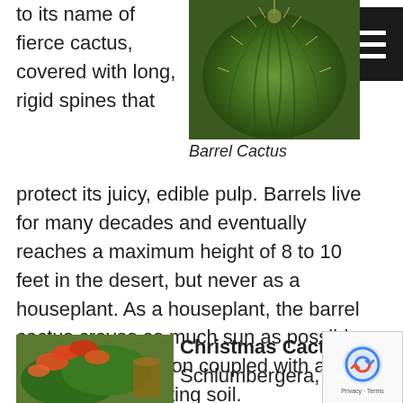to its name of fierce cactus, covered with long, rigid spines that
[Figure (photo): Close-up photo of a barrel cactus showing green ribbed body with long rigid spines]
Barrel Cactus
protect its juicy, edible pulp. Barrels live for many decades and eventually reaches a maximum height of 8 to 10 feet in the desert, but never as a houseplant. As a houseplant, the barrel cactus craves as much sun as possible, and limited irrigation coupled with a quality cactus potting soil.
[Figure (photo): Photo of a Christmas Cactus with bright orange-red flowers and green foliage]
Christmas Cactus, Schlumbergera,